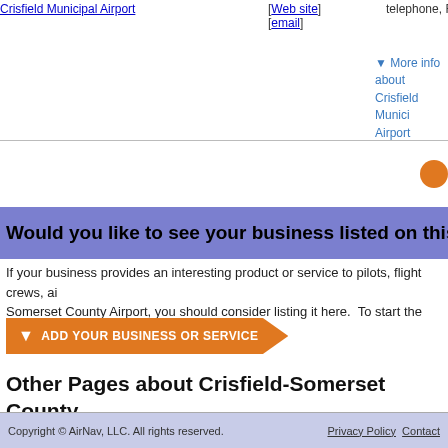[Web site] [email]
telephone, Restrooms
More info about Crisfield Municipal Airport
Would you like to see your business listed on this page?
If your business provides an interesting product or service to pilots, flight crews, ai... Somerset County Airport, you should consider listing it here. To start the listing pr...
Add Your Business or Service
Other Pages about Crisfield-Somerset County Airport
Crisfield-Somerset County Airport
Update, Remove or Add a Link
Copyright © AirNav, LLC. All rights reserved.    Privacy Policy   Contact